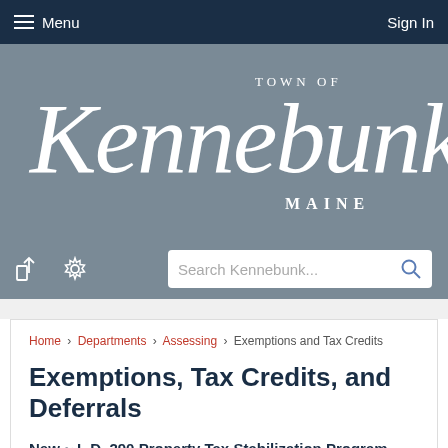Menu  Sign In
[Figure (logo): Town of Kennebunk Maine official logo/banner on gray-blue background]
Search Kennebunk...
Home › Departments › Assessing › Exemptions and Tax Credits
Exemptions, Tax Credits, and Deferrals
New ~ L.D. 290 Property Tax Stabilization Program